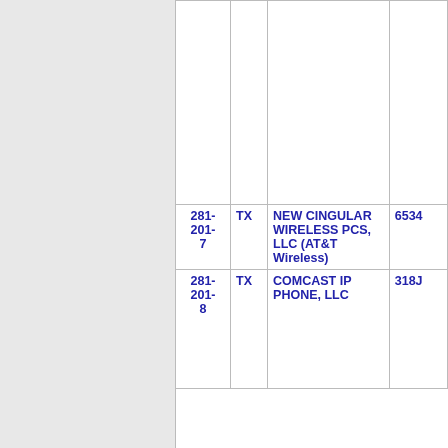| Number | State | Company | ID |
| --- | --- | --- | --- |
|  |  |  |  |
| 281-201-7 | TX | NEW CINGULAR WIRELESS PCS, LLC (AT&T Wireless) | 6534 |
| 281-201-8 | TX | COMCAST IP PHONE, LLC | 318J |